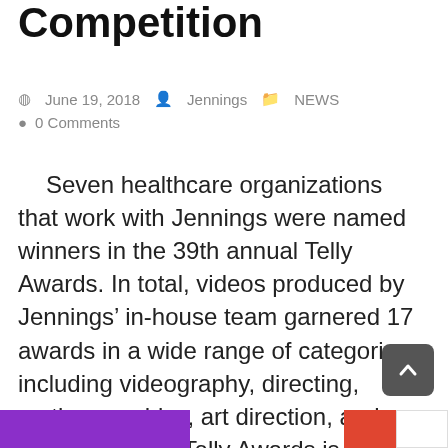Competition
June 19, 2018   Jennings   NEWS   0 Comments
Seven healthcare organizations that work with Jennings were named winners in the 39th annual Telly Awards. In total, videos produced by Jennings' in-house team garnered 17 awards in a wide range of categories including videography, directing, motion graphics, art direction, and animation. The Telly Awards is a highly regarded annual competition that recognizes success in video and film internationally. “It’s…